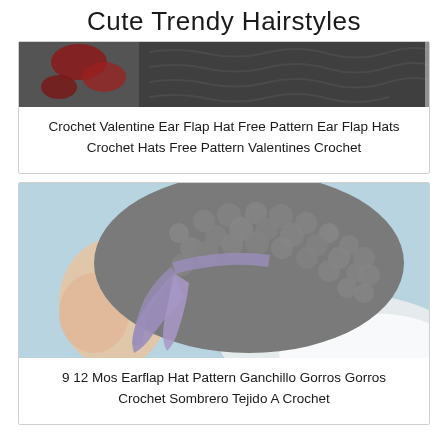Cute Trendy Hairstyles
[Figure (photo): A crochet valentine ear flap hat in dark gray/charcoal with red accent, photographed against a wooden surface background.]
Crochet Valentine Ear Flap Hat Free Pattern Ear Flap Hats Crochet Hats Free Pattern Valentines Crochet
[Figure (photo): A baby wearing a chunky crochet earflap hat in gray and purple/lavender colors, photographed from a side angle against a light blue background.]
9 12 Mos Earflap Hat Pattern Ganchillo Gorros Gorros Crochet Sombrero Tejido A Crochet